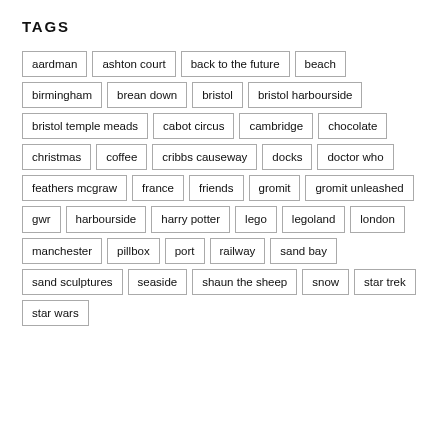TAGS
aardman
ashton court
back to the future
beach
birmingham
brean down
bristol
bristol harbourside
bristol temple meads
cabot circus
cambridge
chocolate
christmas
coffee
cribbs causeway
docks
doctor who
feathers mcgraw
france
friends
gromit
gromit unleashed
gwr
harbourside
harry potter
lego
legoland
london
manchester
pillbox
port
railway
sand bay
sand sculptures
seaside
shaun the sheep
snow
star trek
star wars